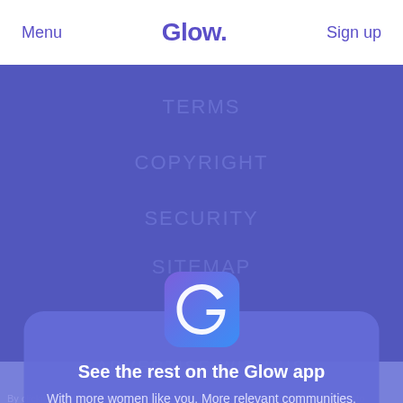Menu  Glow.  Sign up
TERMS
COPYRIGHT
SECURITY
SITEMAP
[Figure (screenshot): Glow app promotional modal overlay on a blue-purple background. Shows the Glow app icon (blue rounded square with white G logo), title 'See the rest on the Glow app', subtitle 'With more women like you. More relevant communities. More ways to message. Only on the app.', a 'Switch to the app' white button, and a 'Not Now' text link.]